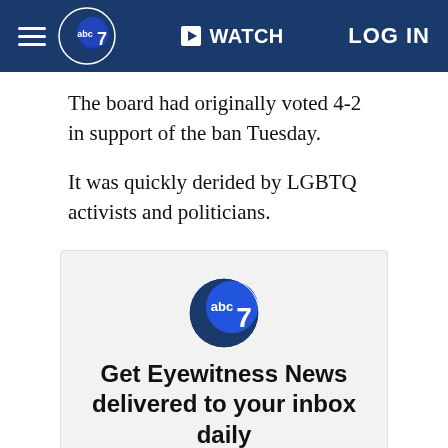abc7 WATCH LOG IN
The board had originally voted 4-2 in support of the ban Tuesday.
It was quickly derided by LGBTQ activists and politicians.
[Figure (logo): ABC7 Eyewitness News logo with newsletter signup box. Title: Get Eyewitness News delivered to your inbox daily. Subtitle: Sign up for our daily newsletter.]